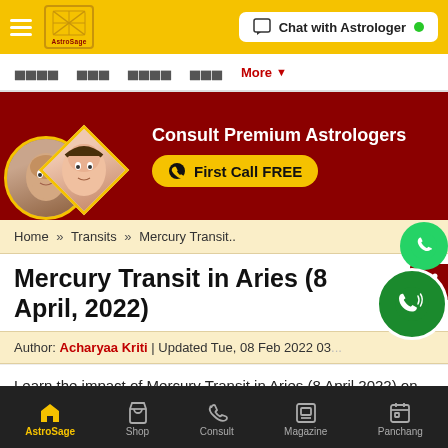AstroSage | Chat with Astrologer
[Figure (screenshot): AstroSage navigation bar with hamburger menu, logo, Hindi nav items, More dropdown, and Chat with Astrologer button]
[Figure (infographic): Red banner advertising Consult Premium Astrologers with First Call FREE button and photos of two astrologers]
Home » Transits » Mercury Transit..
Mercury Transit in Aries (8 April, 2022)
Author: Acharyaa Kriti | Updated Tue, 08 Feb 2022 03...
Learn the impact of Mercury Transit in Aries (8 April 2022) on your
AstroSage | Shop | Consult | Magazine | Panchang